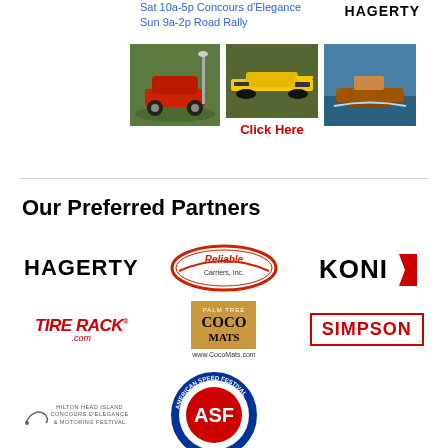Sat 10a-5p Concours d'Elegance
Sun 9a-2p Road Rally
[Figure (logo): Hagerty logo top right]
[Figure (photo): Classic red car on grass]
[Figure (photo): Yellow formula racing car]
Click Here
[Figure (photo): Wooden speedboat on water]
Our Preferred Partners
[Figure (logo): Hagerty logo]
[Figure (logo): Reliable Carriers Inc. oval logo]
[Figure (logo): Koni logo]
[Figure (logo): Tire Rack .com logo]
[Figure (logo): Palm Tree Coco Mats logo with www.CocoMats.com]
[Figure (logo): Simpson logo in red box]
[Figure (logo): Hilton Head Island Concours d'Elegance & Motoring Festival logo]
[Figure (logo): American Speed Festival circular logo with ASF initials]